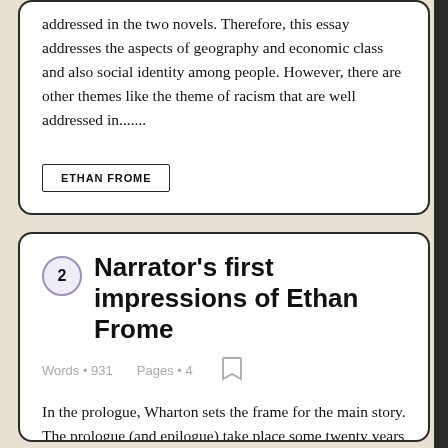addressed in the two novels. Therefore, this essay addresses the aspects of geography and economic class and also social identity among people. However, there are other themes like the theme of racism that are well addressed in.......
ETHAN FROME
2 Narrator's first impressions of Ethan Frome
Words • 931    Pages • 4
In the prologue, Wharton sets the frame for the main story. The prologue (and epilogue) take place some twenty years after the events of the main story and are written in the first person. The anonymous Narrator describes his